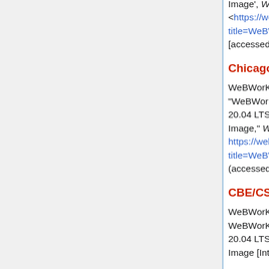Image', WeBWorK_wiki, , 30 June 2020, 18:38 UTC, <https://webwork.maa.org/mediawiki_new/...title=WeBWorK_2.15_Ubuntu_Server_20.0...> [accessed 24 August 2022]
Chicago style
WeBWorK_wiki contributors, "WeBWorK 2.15 Ubuntu Server 20.04 LTS Amazon Machine Image," WeBWorK_wiki, , https://webwork.maa.org/mediawiki_new/i...title=WeBWorK_2.15_Ubuntu_Server_20.0... (accessed August 24, 2022).
CBE/CSE style
WeBWorK_wiki contributors. WeBWorK 2.15 Ubuntu Server 20.04 LTS Amazon Machine Image [Internet]. WeBWorK_wiki, ;